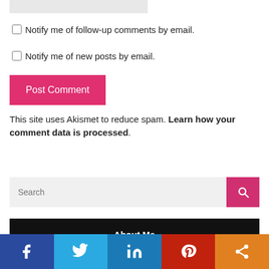[input box]
Notify me of follow-up comments by email.
Notify me of new posts by email.
Post Comment
This site uses Akismet to reduce spam. Learn how your comment data is processed.
Search
About Me
[Figure (other): Social media share buttons: Facebook, Twitter, LinkedIn, Pinterest, Share]